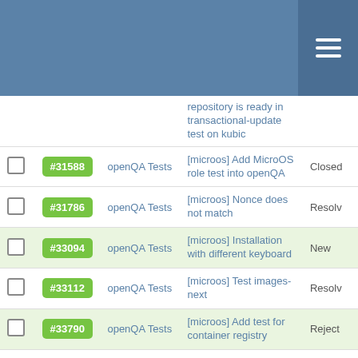|  | ID | Project | Subject | Status |
| --- | --- | --- | --- | --- |
|  |  |  | repository is ready in transactional-update test on kubic |  |
|  | #31588 | openQA Tests | [microos] Add MicroOS role test into openQA | Closed |
|  | #31786 | openQA Tests | [microos] Nonce does not match | Resolved |
|  | #33094 | openQA Tests | [microos] Installation with different keyboard | New |
|  | #33112 | openQA Tests | [microos] Test images-next | Resolved |
|  | #33790 | openQA Tests | [microos] Add test for container registry | Rejected |
|  | #34672 | openQA Tests | [microos] Use mixed case for node names | Resolved |